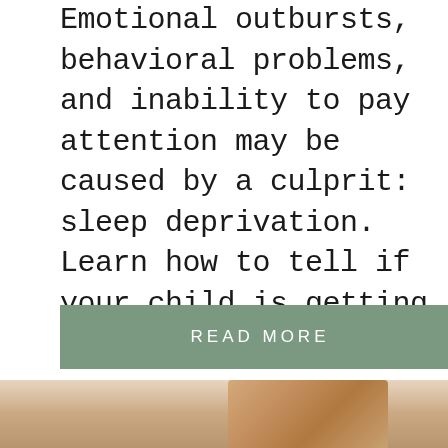Emotional outbursts, behavioral problems, and inability to pay attention may be caused by a culprit: sleep deprivation. Learn how to tell if your child is getting enough sleep.
READ MORE
[Figure (photo): Partial view of a photo at the bottom of the page, appears to show a child or person sleeping]